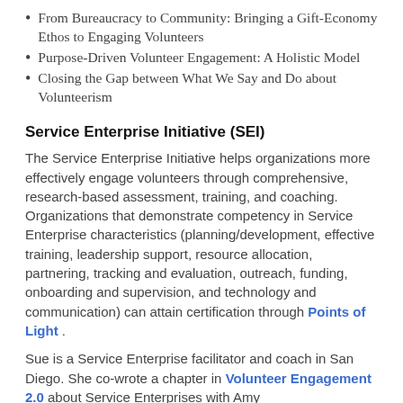From Bureaucracy to Community: Bringing a Gift-Economy Ethos to Engaging Volunteers
Purpose-Driven Volunteer Engagement: A Holistic Model
Closing the Gap between What We Say and Do about Volunteerism
Service Enterprise Initiative (SEI)
The Service Enterprise Initiative helps organizations more effectively engage volunteers through comprehensive, research-based assessment, training, and coaching. Organizations that demonstrate competency in Service Enterprise characteristics (planning/development, effective training, leadership support, resource allocation, partnering, tracking and evaluation, outreach, funding, onboarding and supervision, and technology and communication) can attain certification through Points of Light .
Sue is a Service Enterprise facilitator and coach in San Diego. She co-wrote a chapter in Volunteer Engagement 2.0 about Service Enterprises with Amy